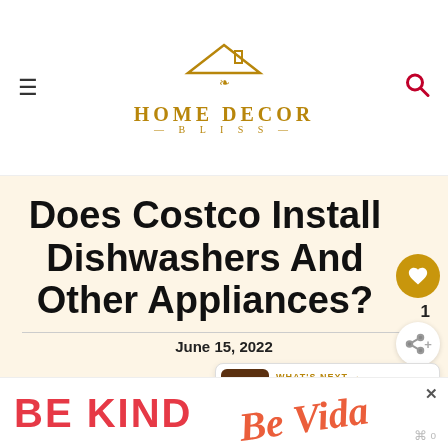HOME DECOR BLISS
Does Costco Install Dishwashers And Other Appliances?
June 15, 2022
[Figure (other): WHAT'S NEXT arrow, thumbnail of appliance, text: What Size Appliance P...]
Oftentimes, an appliance store will offer delivery and installation services, but that is not always the case. But, the good news is that there are many options and
[Figure (other): Advertisement banner: BE KIND with decorative script and icons]